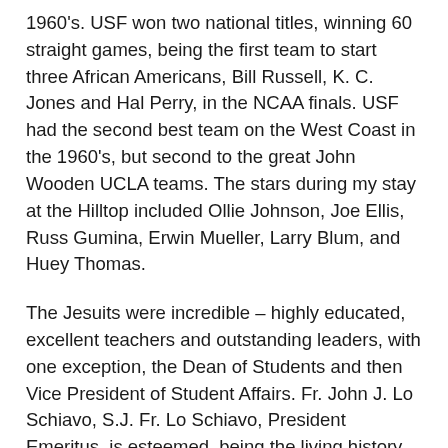1960's. USF won two national titles, winning 60 straight games, being the first team to start three African Americans, Bill Russell, K. C. Jones and Hal Perry, in the NCAA finals. USF had the second best team on the West Coast in the 1960's, but second to the great John Wooden UCLA teams. The stars during my stay at the Hilltop included Ollie Johnson, Joe Ellis, Russ Gumina, Erwin Mueller, Larry Blum, and Huey Thomas.
The Jesuits were incredible – highly educated, excellent teachers and outstanding leaders, with one exception, the Dean of Students and then Vice President of Student Affairs. Fr. John J. Lo Schiavo, S.J. Fr. Lo Schiavo, President Emeritus, is esteemed, being the living history of 6 decades of USF. He is the ambassador to the San Francisco community.
I thought thought him to be arrogant, hypocritical, and smarmy.
One example should suffice. He appointed a student, whose name shall remain nameless, a student of dubious academic